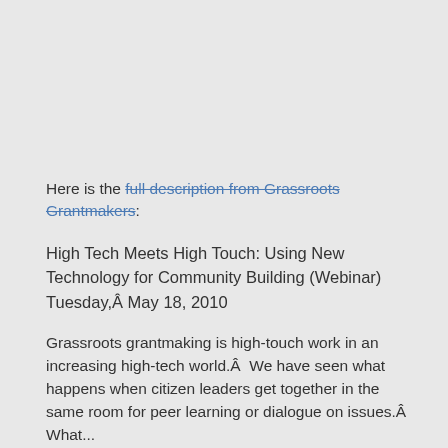Here is the full description from Grassroots Grantmakers:
High Tech Meets High Touch: Using New Technology for Community Building (Webinar)
Tuesday,Â May 18, 2010
Grassroots grantmaking is high-touch work in an increasing high-tech world.Â  We have seen what happens when citizen leaders get together in the same room for peer learning or dialogue on issues.Â Wh...